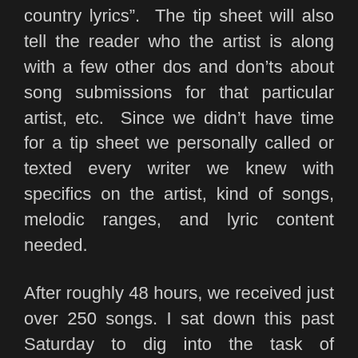country lyrics". The tip sheet will also tell the reader who the artist is along with a few other dos and don'ts about song submissions for that particular artist, etc. Since we didn't have time for a tip sheet we personally called or texted every writer we knew with specifics on the artist, kind of songs, melodic ranges, and lyric content needed.
After roughly 48 hours, we received just over 250 songs. I sat down this past Saturday to dig into the task of listening. After hearing the first 2 songs, I knew what my next blog was going to be about. I want to share the experience that I had going through all these songs to give you a